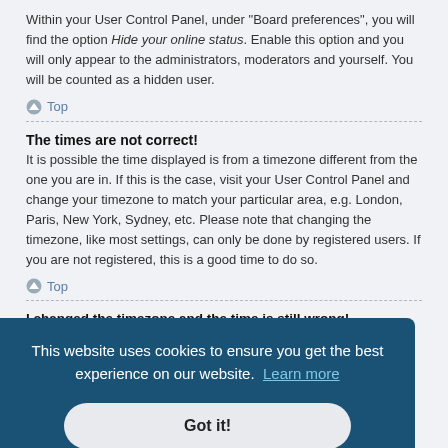Within your User Control Panel, under “Board preferences”, you will find the option Hide your online status. Enable this option and you will only appear to the administrators, moderators and yourself. You will be counted as a hidden user.
⌃ Top
The times are not correct!
It is possible the time displayed is from a timezone different from the one you are in. If this is the case, visit your User Control Panel and change your timezone to match your particular area, e.g. London, Paris, New York, Sydney, etc. Please note that changing the timezone, like most settings, can only be done by registered users. If you are not registered, this is a good time to do so.
⌃ Top
I changed the timezone and the time is still wrong!
...incorrect,...
[Figure (other): Cookie consent banner overlay with text 'This website uses cookies to ensure you get the best experience on our website. Learn more' and a 'Got it!' button]
...administrator if they can install the language pack you need. If the language pack does not exist, feel